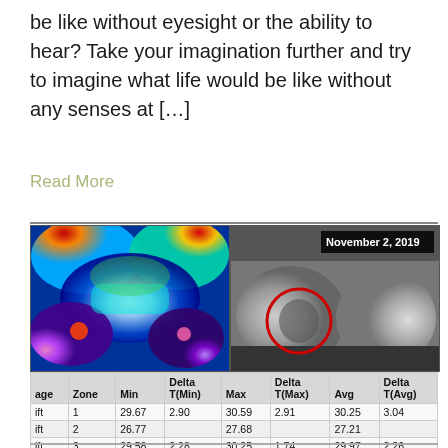be like without eyesight or the ability to hear? Take your imagination further and try to imagine what life would be like without any senses at […]
Read More
[Figure (photo): Side-by-side thermographic and grayscale medical images (likely breast), dated November 2, 2019. The thermographic image on the left shows a false-color heat map. The grayscale image on the right has a red circle marking a region of interest.]
| age | Zone | Min | Delta T(Min) | Max | Delta T(Max) | Avg | Delta T(Avg) |
| --- | --- | --- | --- | --- | --- | --- | --- |
| ift | 1 | 29.67 | 2.90 | 30.59 | 2.91 | 30.25 | 3.04 |
| ift | 2 | 26.77 |  | 27.68 |  | 27.21 |  |
| ift | 3 | 29.58 | 2.28 | 30.25 | 1.74 | 29.97 | 2.26 |